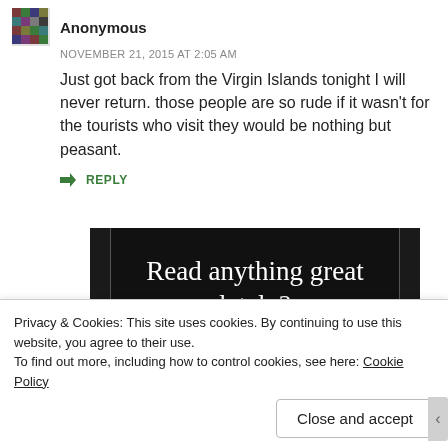Anonymous
NOVEMBER 21, 2015 AT 2:05 AM
Just got back from the Virgin Islands tonight I will never return. those people are so rude if it wasn't for the tourists who visit they would be nothing but peasant.
↳ REPLY
[Figure (screenshot): Dark advertisement banner reading 'Read anything great lately?' with a red 'Start reading' button]
Privacy & Cookies: This site uses cookies. By continuing to use this website, you agree to their use.
To find out more, including how to control cookies, see here: Cookie Policy
Close and accept